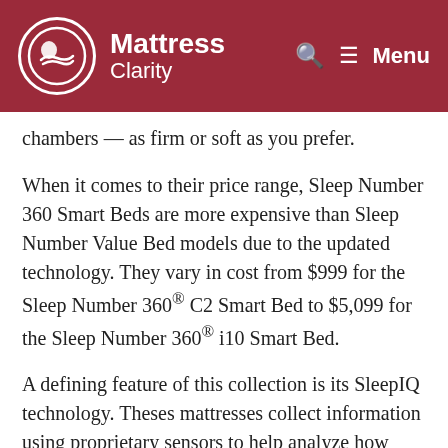Mattress Clarity
chambers — as firm or soft as you prefer.
When it comes to their price range, Sleep Number 360 Smart Beds are more expensive than Sleep Number Value Bed models due to the updated technology. They vary in cost from $999 for the Sleep Number 360® C2 Smart Bed to $5,099 for the Sleep Number 360® i10 Smart Bed.
A defining feature of this collection is its SleepIQ technology. Theses mattresses collect information using proprietary sensors to help analyze how well you are sleeping. There is an accompanying smartphone app, which provides